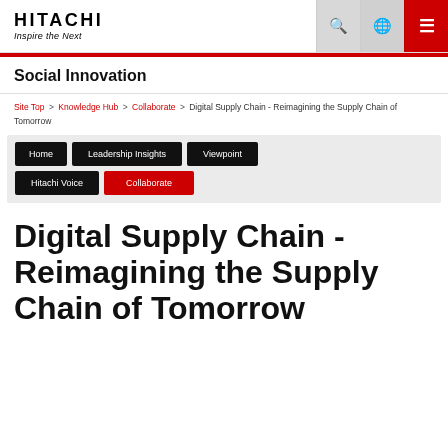HITACHI Inspire the Next
Social Innovation
Site Top > Knowledge Hub > Collaborate > Digital Supply Chain - Reimagining the Supply Chain of Tomorrow
[Figure (screenshot): Navigation menu with buttons: Home, Leadership Insights, Viewpoint, Hitachi Voice, Collaborate (active/red)]
Digital Supply Chain - Reimagining the Supply Chain of Tomorrow